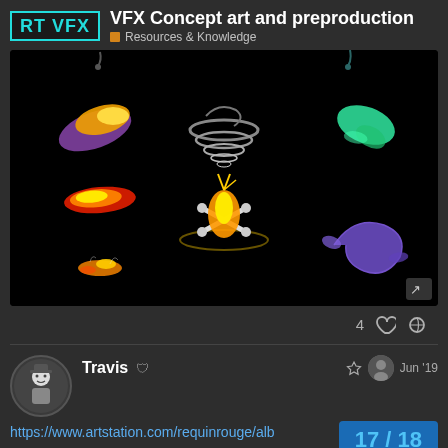RT VFX — VFX Concept art and preproduction — Resources & Knowledge
[Figure (illustration): Dark background illustration showing multiple animated VFX effects: a flame/fire burst on the left, a tornado/vortex in the center-top, a green slime splash top-right, a fire projectile mid-left, an explosion with crossed bones center, a purple swirl bottom-right, and small fire bits bottom-left.]
4 ♡ 🔗
Travis 🛡 Jun '19
https://www.artstation.com/requinrouge/alb
17 / 18